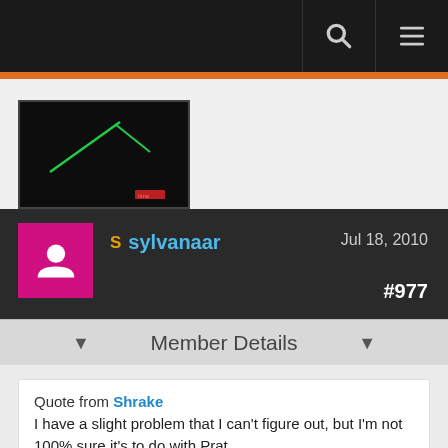Navigation bar with search and menu icons
[Figure (screenshot): Partial game screenshot showing a dark interface with green diagonal lines, red indicator, on dark background]
sylvanaar  Jul 18, 2010  #977
Member Details
Quote from Shrake
I have a slight problem that I can't figure out, but I'm not 100% sure it's to do with Prat.

Usually, when I hold down shift and scroll while hovering my mouse over my chatframe, it will scroll either all the way up, or all the way down. Recently, this is not working on certain characters anymore as where others still do. On my mage it actually stopped working overnight, worked last night, didn't after the maintenance.